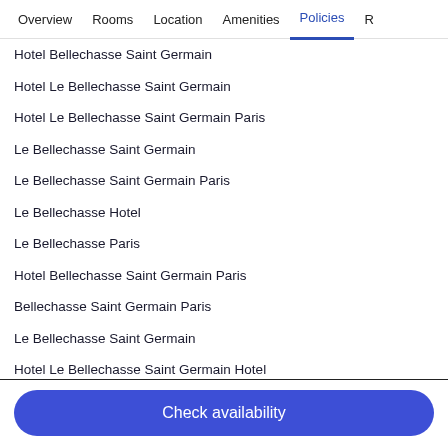Overview | Rooms | Location | Amenities | Policies | R
Hotel Bellechasse Saint Germain
Hotel Le Bellechasse Saint Germain
Hotel Le Bellechasse Saint Germain Paris
Le Bellechasse Saint Germain
Le Bellechasse Saint Germain Paris
Le Bellechasse Hotel
Le Bellechasse Paris
Hotel Bellechasse Saint Germain Paris
Bellechasse Saint Germain Paris
Le Bellechasse Saint Germain
Hotel Le Bellechasse Saint Germain Hotel
Hotel Le Bellechasse Saint Germain Paris
Hotel Le Bellechasse Saint Germain Hotel Paris
Check availability